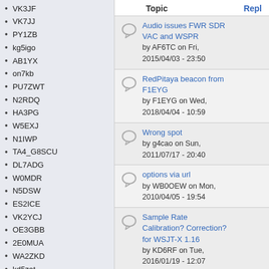VK3JF
VK7JJ
PY1ZB
kg5igo
AB1YX
on7kb
PU7ZWT
N2RDQ
HA3PG
W5EXJ
N1IWP
TA4_G8SCU
DL7ADG
W0MDR
N5DSW
ES2ICE
VK2YCJ
OE3GBB
2E0MUA
WA2ZKD
kd5zat
W2MOQ
W3PM
DL6NL
7L1RLL
KH6L
| Topic | Repl |
| --- | --- |
| Audio issues FWR SDR VAC and WSPR
by AF6TC on Fri, 2015/04/03 - 23:50 |  |
| RedPitaya beacon from F1EYG
by F1EYG on Wed, 2018/04/04 - 10:59 |  |
| Wrong spot
by g4cao on Sun, 2011/07/17 - 20:40 |  |
| options via url
by WB0OEW on Mon, 2010/04/05 - 19:54 |  |
| Sample Rate Calibration? Correction? for WSJT-X 1.16
by KD6RF on Tue, 2016/01/19 - 12:07 |  |
« first  ‹ previous  ...  263  264  265